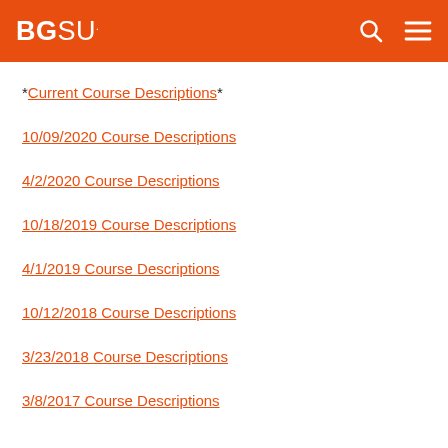BGSU
*Current Course Descriptions*
10/09/2020 Course Descriptions
4/2/2020 Course Descriptions
10/18/2019 Course Descriptions
4/1/2019 Course Descriptions
10/12/2018 Course Descriptions
3/23/2018 Course Descriptions
3/8/2017 Course Descriptions